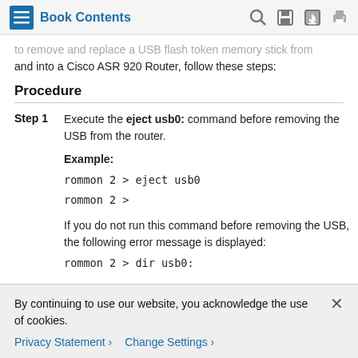Book Contents
to remove and replace a USB flash token memory stick from and into a Cisco ASR 920 Router, follow these steps:
Procedure
Step 1 Execute the eject usb0: command before removing the USB from the router.

Example:
rommon 2 > eject usb0
rommon 2 >

If you do not run this command before removing the USB, the following error message is displayed:
rommon 2 > dir usb0:
By continuing to use our website, you acknowledge the use of cookies.
Privacy Statement > Change Settings >